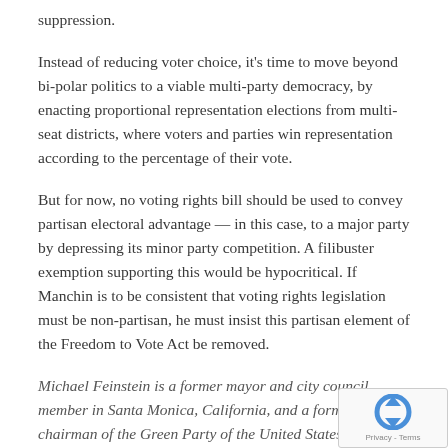suppression.
Instead of reducing voter choice, it’s time to move beyond bi-polar politics to a viable multi-party democracy, by enacting proportional representation elections from multi-seat districts, where voters and parties win representation according to the percentage of their vote.
But for now, no voting rights bill should be used to convey partisan electoral advantage — in this case, to a major party by depressing its minor party competition. A filibuster exemption supporting this would be hypocritical. If Manchin is to be consistent that voting rights legislation must be non-partisan, he must insist this partisan element of the Freedom to Vote Act be removed.
Michael Feinstein is a former mayor and city council member in Santa Monica, California, and a former co-chairman of the Green Party of the United States.
Reach him at twitter.com/mikefeinstein and linkedin.com/in/michael-feinstein-14b45911/